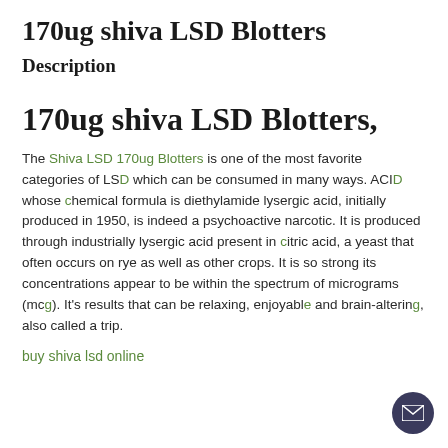170ug shiva LSD Blotters
Description
170ug shiva LSD Blotters,
The Shiva LSD 170ug Blotters is one of the most favorite categories of LSD which can be consumed in many ways. ACID whose chemical formula is diethylamide lysergic acid, initially produced in 1950, is indeed a psychoactive narcotic. It is produced through industrially lysergic acid present in citric acid, a yeast that often occurs on rye as well as other crops. It is so strong its concentrations appear to be within the spectrum of micrograms (mcg). It's results that can be relaxing, enjoyable and brain-altering, also called a trip.
buy shiva lsd online